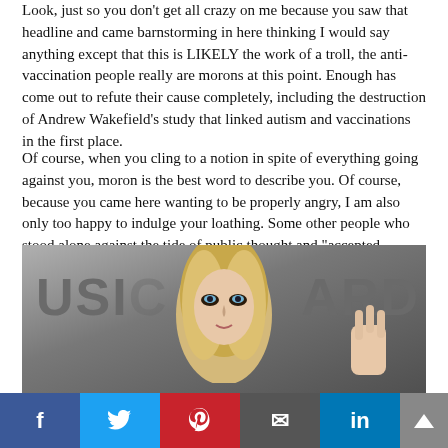Look, just so you don’t get all crazy on me because you saw that headline and came barnstorming in here thinking I would say anything except that this is LIKELY the work of a troll, the anti-vaccination people really are morons at this point. Enough has come out to refute their cause completely, including the destruction of Andrew Wakefield’s study that linked autism and vaccinations in the first place.
Of course, when you cling to a notion in spite of everything going against you, moron is the best word to describe you. Of course, because you came here wanting to be properly angry, I am also only too happy to indulge your loathing. Some other people who stood alone against the tide of public thought and “accepted knowledge” include Tycho Brahe, Charles Darwin, Galileo and Copernicus. Now we revere these people for their gumption. Maybe we’ll one day say the same for Jenny McCarthy. ;P
[Figure (photo): Photo of a blonde woman at a music awards event, making a hand gesture. Background shows partial text 'USIC' and 'ARD'.]
[Figure (infographic): Social media share buttons: Facebook (blue), Twitter (light blue), Pinterest (red), Email (dark grey), LinkedIn (dark blue), and an up-arrow scroll button (grey).]